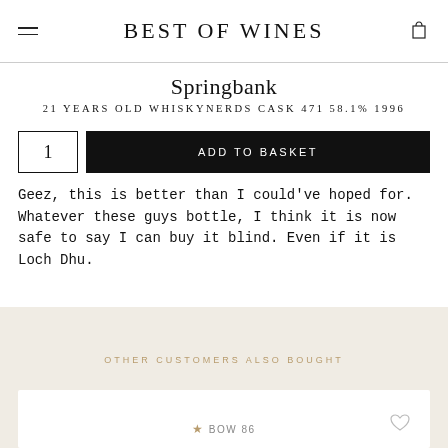BEST OF WINES
Springbank
21 YEARS OLD WHISKYNERDS CASK 471 58.1% 1996
Geez, this is better than I could've hoped for. Whatever these guys bottle, I think it is now safe to say I can buy it blind. Even if it is Loch Dhu.
OTHER CUSTOMERS ALSO BOUGHT
★ BOW 86